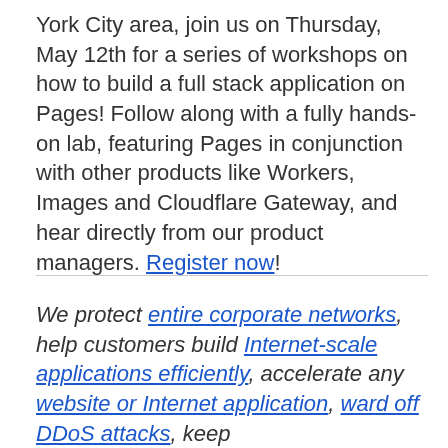York City area, join us on Thursday, May 12th for a series of workshops on how to build a full stack application on Pages! Follow along with a fully hands-on lab, featuring Pages in conjunction with other products like Workers, Images and Cloudflare Gateway, and hear directly from our product managers. Register now!
We protect entire corporate networks, help customers build Internet-scale applications efficiently, accelerate any website or Internet application, ward off DDoS attacks, keep